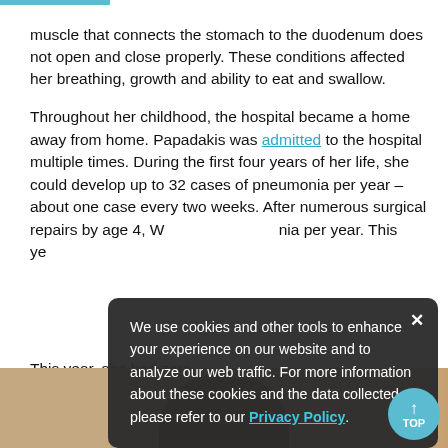muscle that connects the stomach to the duodenum does not open and close properly. These conditions affected her breathing, growth and ability to eat and swallow.
Throughout her childhood, the hospital became a home away from home. Papadakis was admitted to the hospital multiple times. During the first four years of her life, she could develop up to 32 cases of pneumonia per year – about one case every two weeks. After numerous surgical repairs by age 4, [partial text obscured] onia per year. This ye[ar...obscured by overlay]
[Figure (photo): Photo of a young woman, partially visible, with dark hair, in a warm-toned background.]
We use cookies and other tools to enhance your experience on our website and to analyze our web traffic. For more information about these cookies and the data collected, please refer to our Privacy Policy.